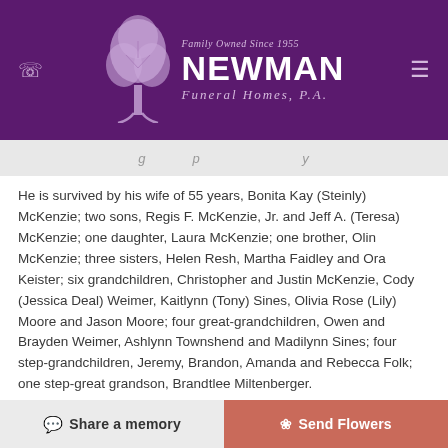[Figure (logo): Newman Funeral Homes P.A. logo with tree graphic on purple background. Tagline: Family Owned Since 1955.]
g p y
He is survived by his wife of 55 years, Bonita Kay (Steinly) McKenzie; two sons, Regis F. McKenzie, Jr. and Jeff A. (Teresa) McKenzie; one daughter, Laura McKenzie; one brother, Olin McKenzie; three sisters, Helen Resh, Martha Faidley and Ora Keister; six grandchildren, Christopher and Justin McKenzie, Cody (Jessica Deal) Weimer, Kaitlynn (Tony) Sines, Olivia Rose (Lily) Moore and Jason Moore; four great-grandchildren, Owen and Brayden Weimer, Ashlynn Townshend and Madilynn Sines; four step-grandchildren, Jeremy, Brandon, Amanda and Rebecca Folk; one step-great grandson, Brandtlee Miltenberger.
The family would like to thank Hospice of Garrett County, for the great care provided to Regis.
Friends will be received at the...
Share a memory   Send Flowers